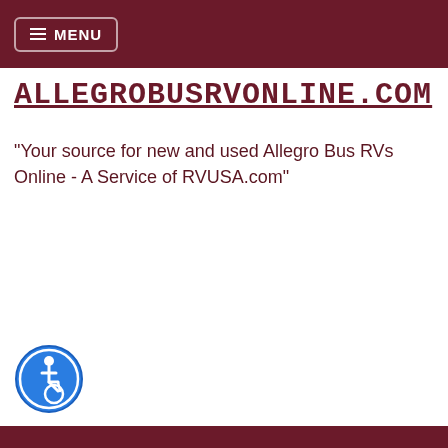≡ MENU
ALLEGROBUSRVONLINE.COM
"Your source for new and used Allegro Bus RVs Online - A Service of RVUSA.com"
[Figure (logo): Blue circular accessibility icon with wheelchair symbol]